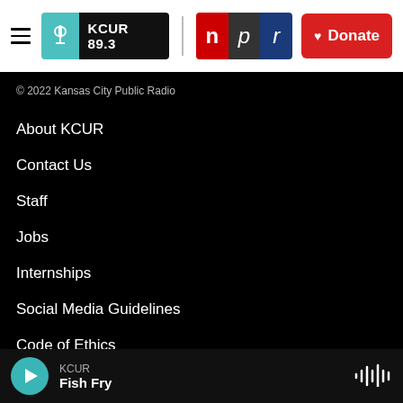KCUR 89.3 | npr | Donate
© 2022 Kansas City Public Radio
About KCUR
Contact Us
Staff
Jobs
Internships
Social Media Guidelines
Code of Ethics
KCUR | Fish Fry